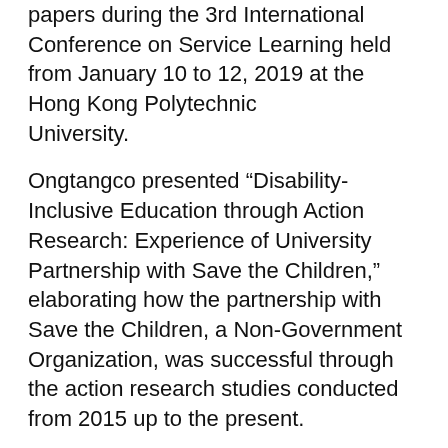papers during the 3rd International Conference on Service Learning held from January 10 to 12, 2019 at the Hong Kong Polytechnic University.
Ongtangco presented “Disability-Inclusive Education through Action Research: Experience of University Partnership with Save the Children,” elaborating how the partnership with Save the Children, a Non-Government Organization, was successful through the action research studies conducted from 2015 up to the present.
In their second presentation, Ongtangco co-presented with Bermejo, a paper on the partnership of CRS with UST’s mandatory Service Learning course, National Service Training Program. Titled “Disability Inclusive Disaster Risk Reduction and Management: Advocacy to Transformative Action in Service Learning,” the paper tackled the research-based process of revising the Disaster Risk Reduction and Management module of NSTP.
In both presentations, experiential learning, academic study and reflections were highlighted in the process of